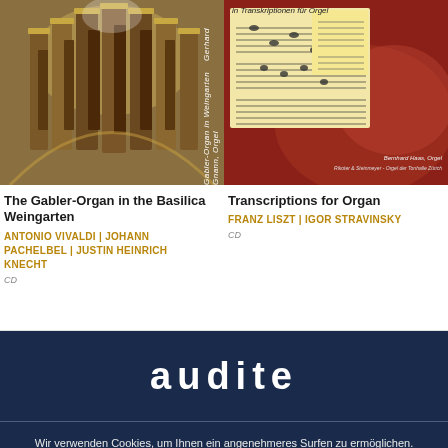[Figure (photo): Album cover: The Gabler-Organ in the Basilica Weingarten - large organ pipes in ornate baroque church interior with vertical spine text]
[Figure (photo): Album cover: Transcriptions for Organ - reddish-brown background with musical score sheet overlay and text 'in Transkriptionen für Orgel', 'Bernhard Haas, Orgel']
The Gabler-Organ in the Basilica Weingarten
ANTONIO VIVALDI | JOHANN PACHELBEL | JUSTIN HEINRICH KNECHT
CD
Transcriptions for Organ
FRANZ LISZT | IGOR STRAVINSKY
CD
[Figure (logo): audite record label logo in white text on dark navy background]
Wir verwenden Cookies, um Ihnen ein angenehmeres Surfen zu ermöglichen.
Akzeptieren  Information